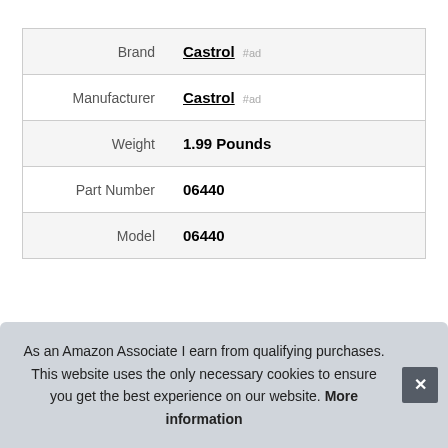|  |  |
| --- | --- |
| Brand | Castrol #ad |
| Manufacturer | Castrol #ad |
| Weight | 1.99 Pounds |
| Part Number | 06440 |
| Model | 06440 |
More information #ad
Tags
As an Amazon Associate I earn from qualifying purchases. This website uses the only necessary cookies to ensure you get the best experience on our website. More information